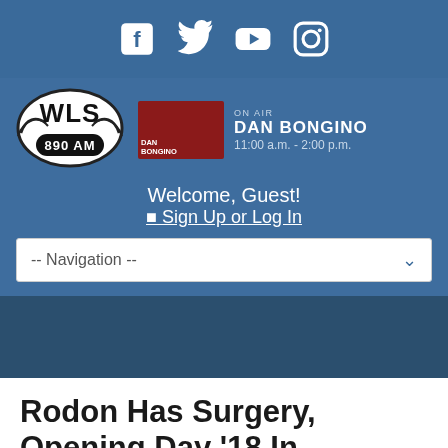Social media icons: Facebook, Twitter, YouTube, Instagram
[Figure (logo): WLS 890 AM radio station logo in black and white with wings]
ON AIR
DAN BONGINO
11:00 a.m. - 2:00 p.m.
Welcome, Guest!
⊙ Sign Up or Log In
-- Navigation --
Rodon Has Surgery, Opening Day '18 In Question
Sep 28, 2017 | Connor McKnight